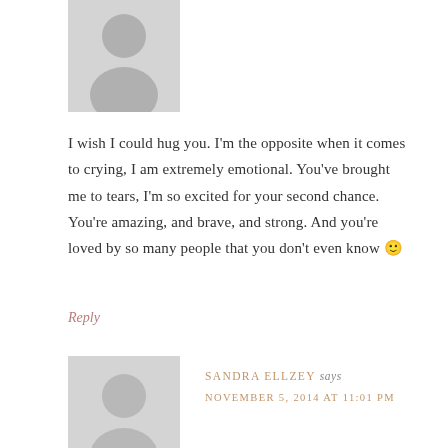[Figure (illustration): Gray placeholder avatar silhouette (top), cropped at top of page]
I wish I could hug you. I'm the opposite when it comes to crying, I am extremely emotional. You've brought me to tears, I'm so excited for your second chance. You're amazing, and brave, and strong. And you're loved by so many people that you don't even know 🙂
Reply
[Figure (illustration): Gray placeholder avatar silhouette (bottom), partially visible]
SANDRA ELLZEY says
NOVEMBER 5, 2014 AT 11:01 PM